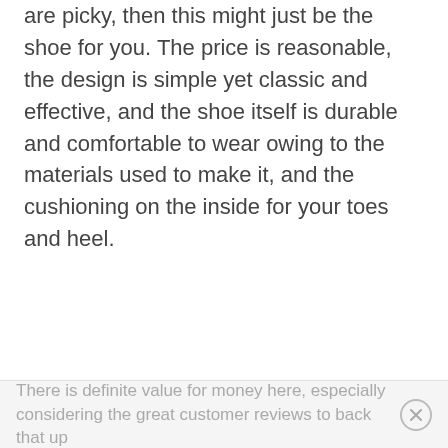are picky, then this might just be the shoe for you. The price is reasonable, the design is simple yet classic and effective, and the shoe itself is durable and comfortable to wear owing to the materials used to make it, and the cushioning on the inside for your toes and heel.
There is definite value for money here, especially considering the great customer reviews to back that up